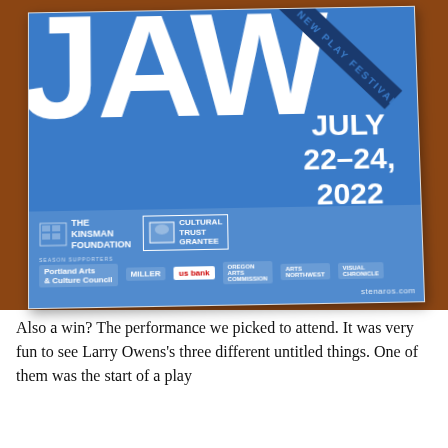[Figure (photo): Photograph of a JAW New Play Festival poster lying on a brown wooden surface. The poster has a bright blue background with large white letters 'JAW' and a diagonal dark band reading 'NEW PLAY FESTIVAL'. It shows dates July 22-24, 2022, The Kinsman Foundation logo, Cultural Trust Grantee logo, and sponsor logos including US Bank. Watermark reads stenaros.com.]
Also a win? The performance we picked to attend. It was very fun to see Larry Owens's three different untitled things. One of them was the start of a play